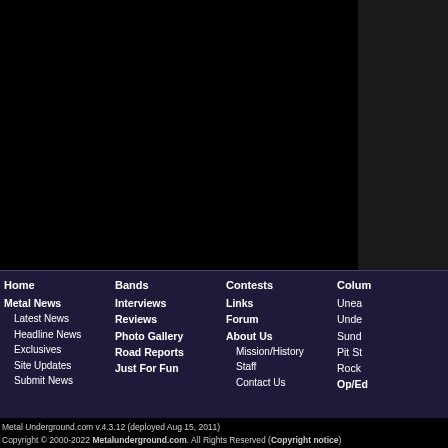[Figure (other): Black background area at top of page, with dark gray panel on the right side]
Home
Metal News
Latest News
Headline News
Exclusives
Site Updates
Submit News
Bands
Interviews
Reviews
Photo Gallery
Road Reports
Just For Fun
Contests
Links
Forum
About Us
Mission/History
Staff
Contact Us
Colum
Unea
Unde
Sund
Pit St
Rock
Op/Ed
Metal Underground.com v.4.3.12 (deployed Aug 15, 2011)
Copyright © 2000-2022 Metalunderground.com. All Rights Reserved (Copyright notice)
Execution Time ~ 0.094s. ... Page Ready ~ 0.548s. ... Page Complete ~ 1.076s.